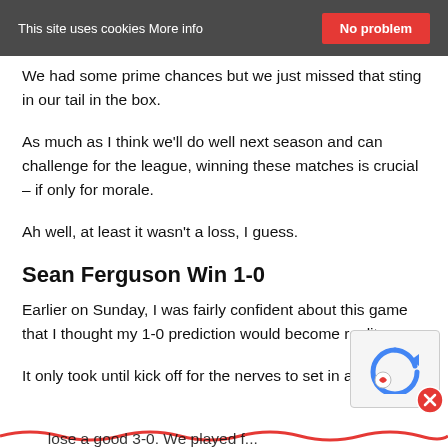This site uses cookies More info  No problem
We had some prime chances but we just missed that sting in our tail in the box.
As much as I think we'll do well next season and can challenge for the league, winning these matches is crucial – if only for morale.
Ah well, at least it wasn't a loss, I guess.
Sean Ferguson Win 1-0
Earlier on Sunday, I was fairly confident about this game that I thought my 1-0 prediction would become reality.
It only took until kick off for the nerves to set in and I w... ...lose a good 3-0. We played f...